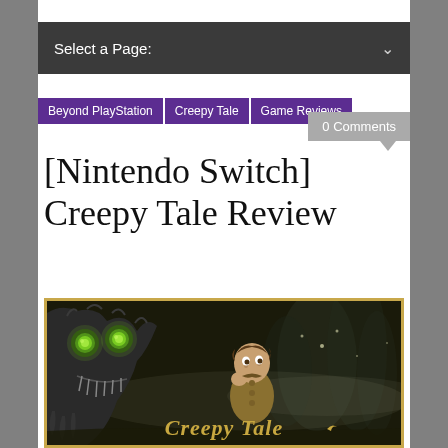Select a Page:
Beyond PlayStation
Creepy Tale
Game Reviews
0 Comments
[Nintendo Switch] Creepy Tale Review
[Figure (illustration): Game cover art for Creepy Tale showing a dark forest scene with a monstrous creature with glowing green eyes on the left and a young boy on the right, with the golden text 'Creepy Tale' at the bottom]